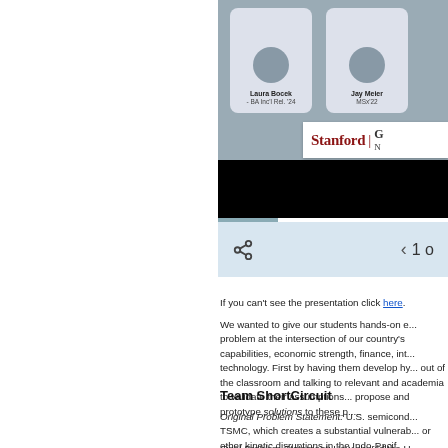[Figure (screenshot): Slide presentation viewer showing student profile cards for Laura Bocek (BA Inc'l Rel. '24) and Jay Meier (MSx'22), with Stanford logo bar, black bar, and navigation controls showing share icon and page 1 of N]
If you can't see the presentation click here.
We wanted to give our students hands-on e... problem at the intersection of our country's capabilities, economic strength, finance, int... technology. First by having them develop hy... out of the classroom and talking to relevant and academia to validate their assumptions... propose and prototype solutions to these p...
Team ShortCircuit
Original Problem Statement: U.S. semicond... TSMC, which creates a substantial vulnerab... or other kinetic disruptions in the Indo-Pacif...
Final Problem Statement: How should the U...